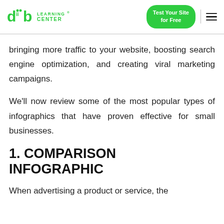diib LEARNING CENTER | Test Your Site for Free
bringing more traffic to your website, boosting search engine optimization, and creating viral marketing campaigns.
We'll now review some of the most popular types of infographics that have proven effective for small businesses.
1. COMPARISON INFOGRAPHIC
When advertising a product or service, the